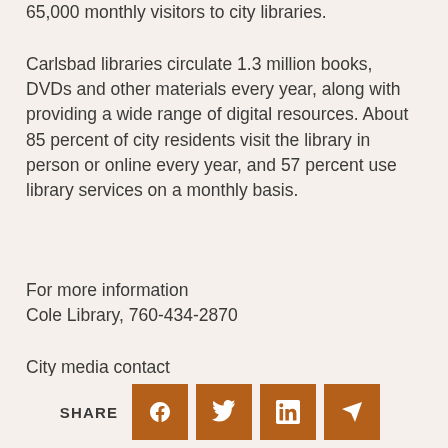65,000 monthly visitors to city libraries.
Carlsbad libraries circulate 1.3 million books, DVDs and other materials every year, along with providing a wide range of digital resources. About 85 percent of city residents visit the library in person or online every year, and 57 percent use library services on a monthly basis.
For more information
Cole Library, 760-434-2870
City media contact
Susanne Bankhead, 760-434-2960, susanne.bankhead@carlsbadca.gov
[Figure (infographic): SHARE row with social media icons: Facebook, Twitter, LinkedIn, and a send/email icon, all in brown/orange square buttons]